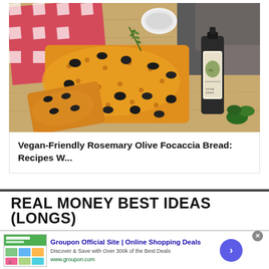[Figure (photo): Photo of focaccia bread topped with black olives and rosemary on a wooden cutting board, with a checkered red and white napkin and a bottle of olive oil]
Vegan-Friendly Rosemary Olive Focaccia Bread: Recipes W...
REAL MONEY BEST IDEAS (LONGS)
Groupon Official Site | Online Shopping Deals
Discover & Save with Over 300k of the Best Deals
www.groupon.com